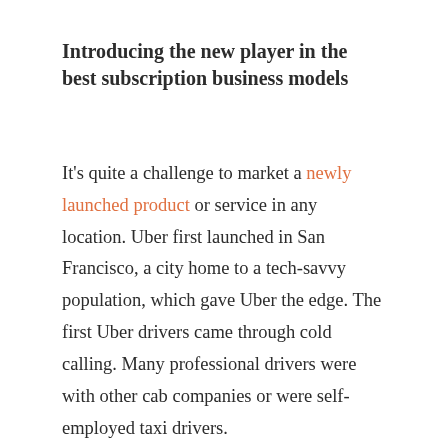Introducing the new player in the best subscription business models
It's quite a challenge to market a newly launched product or service in any location. Uber first launched in San Francisco, a city home to a tech-savvy population, which gave Uber the edge. The first Uber drivers came through cold calling. Many professional drivers were with other cab companies or were self-employed taxi drivers.